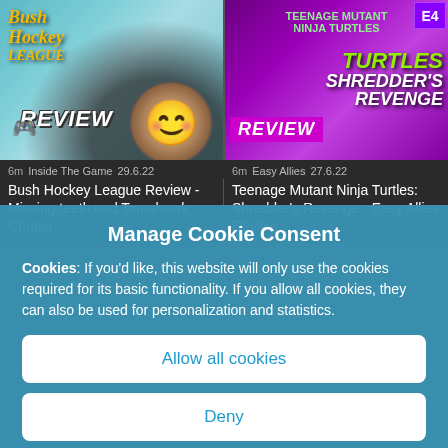[Figure (screenshot): Thumbnail for Bush Hockey League Review video - colorful hockey game art with 'REVIEW' text and reviewer face]
6m   Inside The Game   29.6.22
Bush Hockey League Review - Missing teeth and Tomahawk Chops!
[Figure (screenshot): Thumbnail for TMNT Shredder's Revenge Easy Allies Review - purple background with turtle characters and 'REVIEW' banner]
6m   Easy Allies   27.6.22
Teenage Mutant Ninja Turtles: Shredder's Revenge - Easy Allies Review
Manage Cookie Consent
Cookies: If you'd like, this website will only use the cookies required for its basic functionality. If you allow all cookies, they can also be used for personalization and statistics.
Allow all cookies
Deny